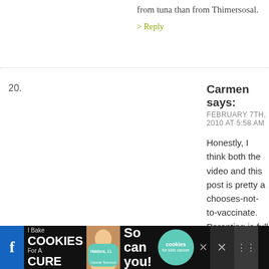from tuna than from Thimersosal.
> Reply
20. Carmen says: FEBRUARY 7TH, 2010 AT 5:58 AM
Honestly, I think both the video and this post is pretty a chooses-not-to-vaccinate. Parenting is full for choices, have risks and ALL sides should be respected. It seems bunch of parent bullies got together to beat on the oth video. I believe that you as a parent, have the right to m your children, like for example, feeding your baby formu breast milk jaundice which other parents may not do be trained in breastfeeding, as long as the jaundice is contr reason to stop breastfeeding, but they don't judge you t each their own, right?
I am pro vaccine but I do my own schedule. And I believe making informed choices and not judging each other- th
[Figure (photo): Advertisement banner: I Bake COOKIES For A CURE with Haldora, 11 Cancer Survivor. So can you! Cookies for kids cancer logo.]